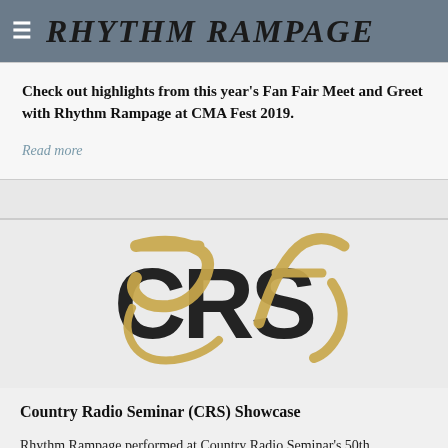RHYTHM RAMPAGE
Check out highlights from this year's Fan Fair Meet and Greet with Rhythm Rampage at CMA Fest 2019.
Read more
[Figure (logo): CRS 50th Anniversary logo — dark letters 'CRS' with gold/tan brushstroke '5' and 'ts' overlaid, forming a combined '50' CRS mark]
Country Radio Seminar (CRS) Showcase
Rhythm Rampage performed at Country Radio Seminar's 50th Anniversary CRS 2019. Located at the